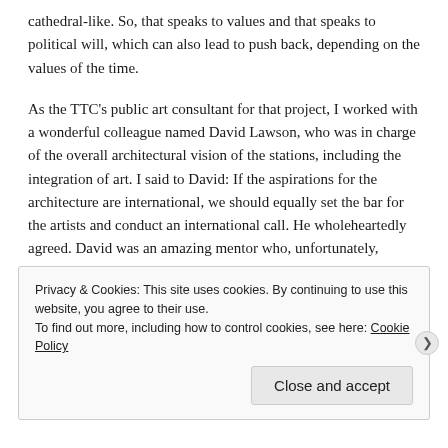cathedral-like. So, that speaks to values and that speaks to political will, which can also lead to push back, depending on the values of the time.
As the TTC's public art consultant for that project, I worked with a wonderful colleague named David Lawson, who was in charge of the overall architectural vision of the stations, including the integration of art. I said to David: If the aspirations for the architecture are international, we should equally set the bar for the artists and conduct an international call. He wholeheartedly agreed. David was an amazing mentor who, unfortunately, passed away way too early. He never got to see the finished stations and artworks.
Privacy & Cookies: This site uses cookies. By continuing to use this website, you agree to their use. To find out more, including how to control cookies, see here: Cookie Policy